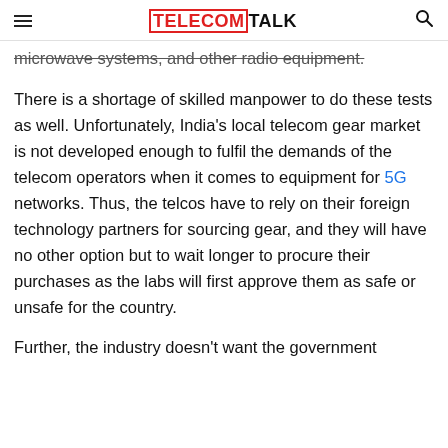TELECOMTALK
microwave systems, and other radio equipment.
There is a shortage of skilled manpower to do these tests as well. Unfortunately, India's local telecom gear market is not developed enough to fulfil the demands of the telecom operators when it comes to equipment for 5G networks. Thus, the telcos have to rely on their foreign technology partners for sourcing gear, and they will have no other option but to wait longer to procure their purchases as the labs will first approve them as safe or unsafe for the country.
Further, the industry doesn't want the government